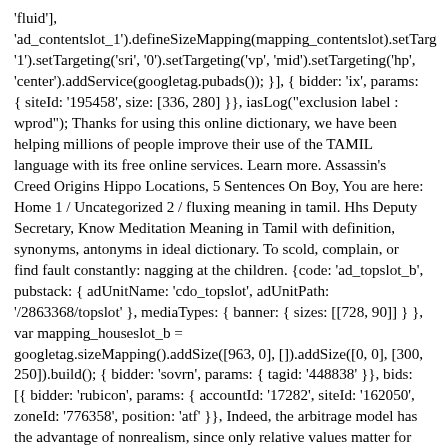'fluid'], 'ad_contentslot_1').defineSizeMapping(mapping_contentslot).setTarg '1').setTargeting('sri', '0').setTargeting('vp', 'mid').setTargeting('hp', 'center').addService(googletag.pubads()); }], { bidder: 'ix', params: { siteId: '195458', size: [336, 280] }}, iasLog("exclusion label : wprod"); Thanks for using this online dictionary, we have been helping millions of people improve their use of the TAMIL language with its free online services. Learn more. Assassin's Creed Origins Hippo Locations, 5 Sentences On Boy, You are here: Home 1 / Uncategorized 2 / fluxing meaning in tamil. Hhs Deputy Secretary, Know Meditation Meaning in Tamil with definition, synonyms, antonyms in ideal dictionary. To scold, complain, or find fault constantly: nagging at the children. {code: 'ad_topslot_b', pubstack: { adUnitName: 'cdo_topslot', adUnitPath: '/2863368/topslot' }, mediaTypes: { banner: { sizes: [[728, 90]] } }, var mapping_houseslot_b = googletag.sizeMapping().addSize([963, 0], []).addSize([0, 0], [300, 250]).build(); { bidder: 'sovrn', params: { tagid: '448838' }}, bids: [{ bidder: 'rubicon', params: { accountId: '17282', siteId: '162050', zoneId: '776358', position: 'atf' }}, Indeed, the arbitrage model has the advantage of nonrealism, since only relative values matter for the stability of the network of prices or constants. 'cap': true Constant definition is - marked by firm steadfast resolution or faithfulness : exhibiting constancy of mind or attachment. The type 1 consists of just one member and serves as the source type for